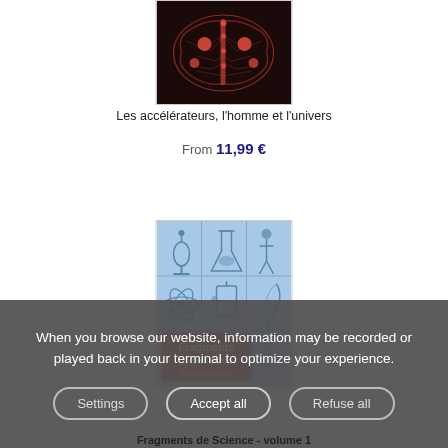[Figure (illustration): Book cover showing a brain illustration with orange highlights on a dark background]
Les accélérateurs, l'homme et l'univers
From 11,99 €
[Figure (illustration): Book cover for Fragments de Science - volume 1, showing a blue grid with science icons and a red label]
When you browse our website, information may be recorded or played back in your terminal to optimize your experience.
Settings
Accept all
Refuse all
Fragments de Science - volume 1